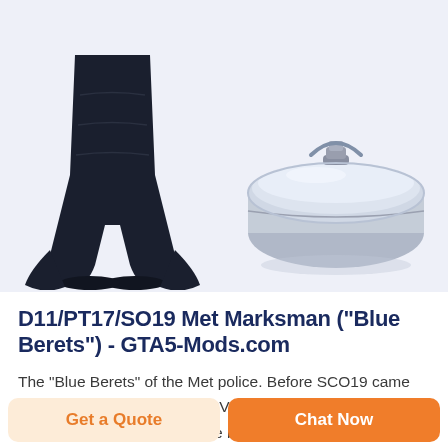[Figure (photo): Two product images on a light blue-grey background: left shows dark navy tactical clothing/boot/gaiter item, right shows a stainless steel oval tiffin/lunch box with locking clip]
D11/PT17/SO19 Met Marksman ("Blue Berets") - GTA5-Mods.com
The "Blue Berets" of the Met police. Before SCO19 came along rolling up in a BMW ARV to a firearm incident wearing tactical gear, the good ol' blue berets came along with a Smith and Wesson .38 and maybe an MP5 if they